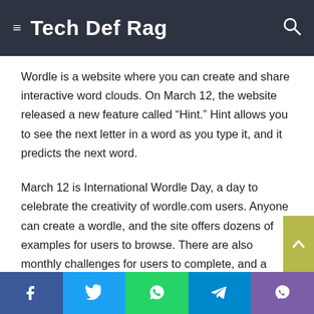Tech Def Rag
Wordle is a website where you can create and share interactive word clouds. On March 12, the website released a new feature called “Hint.” Hint allows you to see the next letter in a word as you type it, and it predicts the next word.
March 12 is International Wordle Day, a day to celebrate the creativity of wordle.com users. Anyone can create a wordle, and the site offers dozens of examples for users to browse. There are also monthly challenges for users to complete, and a yearly award for the best wordle.
On March 12th, millions of people all around the world will take to the streets to protest. The march, known as the